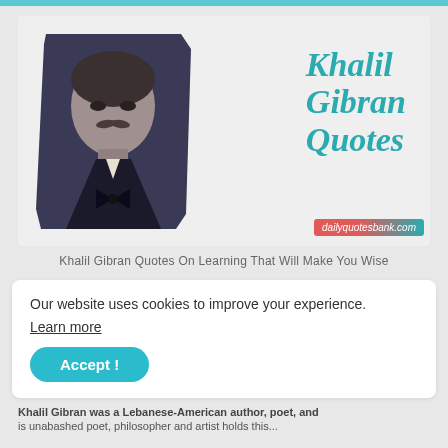[Figure (photo): Banner image showing a black and white portrait of Khalil Gibran on the left with 'Khalil Gibran Quotes' text in teal on the right, with dailyquotesbank.com watermark]
Khalil Gibran Quotes On Learning That Will Make You Wise
Our website uses cookies to improve your experience.
Learn more
Accept !
Khalil Gibran was a Lebanese-American author, poet, and